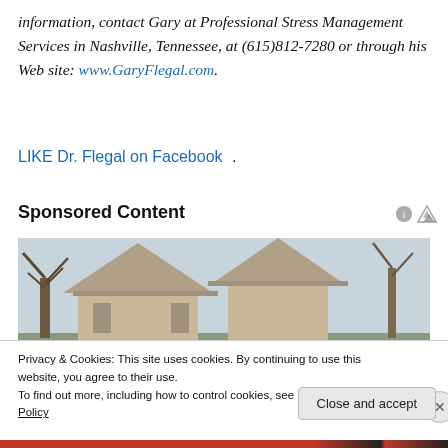information, contact Gary at Professional Stress Management Services in Nashville, Tennessee, at (615)812-7280 or through his Web site: www.GaryFlegal.com.
LIKE Dr. Flegal on Facebook.
Sponsored Content
[Figure (photo): Exterior of a house with siding and a tree, overcast sky]
Privacy & Cookies: This site uses cookies. By continuing to use this website, you agree to their use. To find out more, including how to control cookies, see here: Cookie Policy